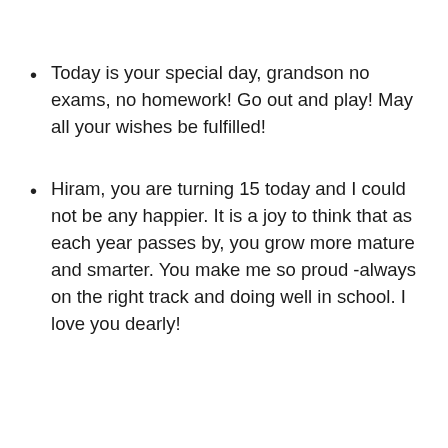Today is your special day, grandson no exams, no homework! Go out and play! May all your wishes be fulfilled!
Hiram, you are turning 15 today and I could not be any happier. It is a joy to think that as each year passes by, you grow more mature and smarter. You make me so proud -always on the right track and doing well in school. I love you dearly!